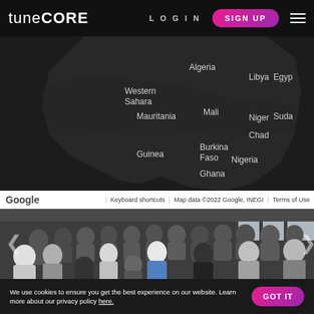tuneCORE — LOGIN | SIGN UP
[Figure (map): Dark Google Maps view showing North and West Africa with country labels: Algeria, Libya, Egypt, Western Sahara, Mauritania, Mali, Niger, Chad, Sudan, Guinea, Burkina Faso, Nigeria, Ghana]
Google   Keyboard shortcuts   Map data ©2022 Google, INEGI   Terms of Use
[Figure (photo): Group photo of approximately 40 people standing in a modern office space]
We use cookies to ensure you get the best experience on our website. Learn more about our privacy policy here.